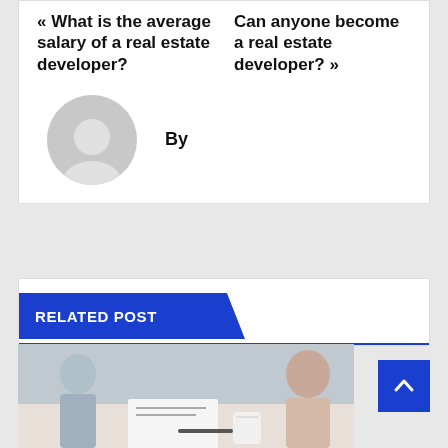« What is the average salary of a real estate developer?
Can anyone become a real estate developer? »
By
[Figure (illustration): Gray circular avatar/profile placeholder icon showing a generic person silhouette]
RELATED POST
[Figure (photo): Photo showing people at a desk with papers and a cup, business/real estate context]